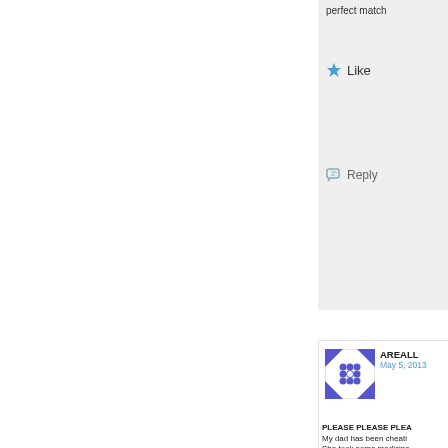perfect match
Like
Reply
[Figure (illustration): Avatar image with blue/white geometric pattern (AREALL commenter avatar)]
AREALL
May 5, 2013
PLEASE PLEASE PLEA... My dad has been cheati... She took some medicine... All she does is to sleep a... While she's asleep she s... I'm just 13 years old and... I am just lying here right... her to recover . I also ha... When she wakes up she... hugs me and I can't do a... sisters, don't let anything... IT SCARES ME . And again PLEASE PLE...